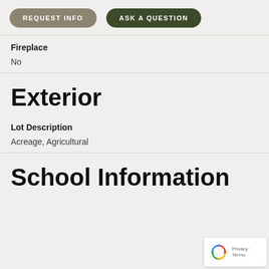[Figure (other): Two navigation buttons: REQUEST INFO (grey-brown rounded pill) and ASK A QUESTION (dark green rounded pill)]
Fireplace
No
Exterior
Lot Description
Acreage, Agricultural
School Information